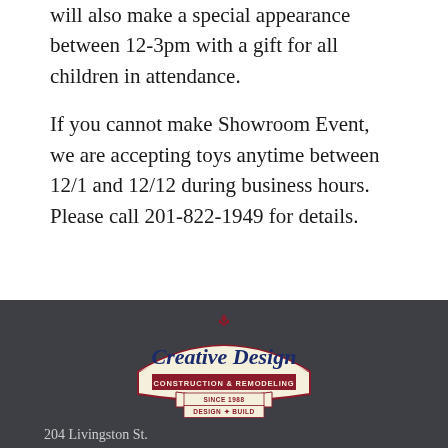will also make a special appearance between 12-3pm with a gift for all children in attendance.
If you cannot make Showroom Event, we are accepting toys anytime between 12/1 and 12/12 during business hours. Please call 201-822-1949 for details.
[Figure (logo): Creative Design Construction & Remodeling logo - Since 1988 Design + Build]
204 Livingston St.